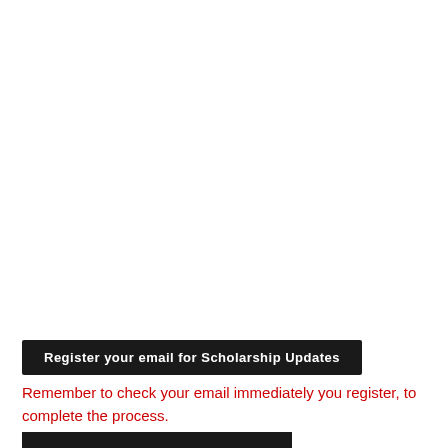[Figure (other): Dark button labeled 'Register your email for Scholarship Updates']
Remember to check your email immediately you register, to complete the process.
[Figure (other): Dark button at bottom of page (partially visible)]